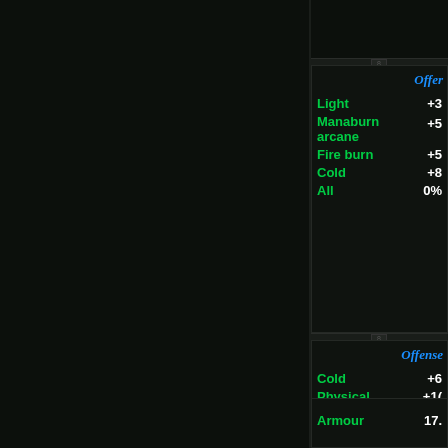[Figure (screenshot): Game UI screenshot showing two item tooltip panels on a dark background. Left side is dark/empty. Right side shows two partially visible tooltip cards with 'Offense' headers in blue italic text, and stat rows showing Light, Manaburn arcane, Fire burn, Cold, All (first card) and Cold, Physical, Fire, Light (second card) in green text with white numeric values. A third partial card at bottom shows 'Armour' with value 17.]